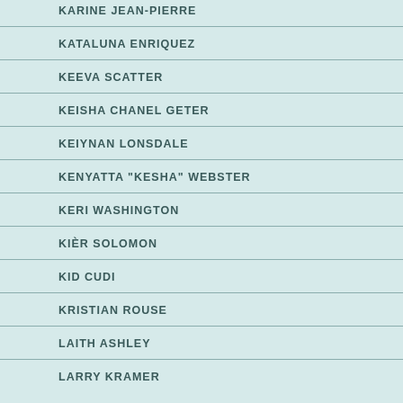KARINE JEAN-PIERRE
KATALUNA ENRIQUEZ
KEEVA SCATTER
KEISHA CHANEL GETER
KEIYNAN LONSDALE
KENYATTA "KESHA" WEBSTER
KERI WASHINGTON
KIÈR SOLOMON
KID CUDI
KRISTIAN ROUSE
LAITH ASHLEY
LARRY KRAMER